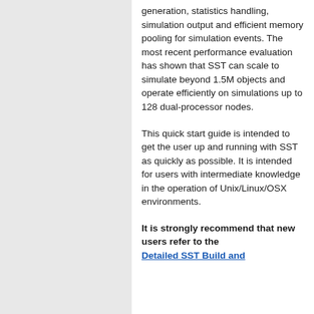generation, statistics handling, simulation output and efficient memory pooling for simulation events. The most recent performance evaluation has shown that SST can scale to simulate beyond 1.5M objects and operate efficiently on simulations up to 128 dual-processor nodes.
This quick start guide is intended to get the user up and running with SST as quickly as possible. It is intended for users with intermediate knowledge in the operation of Unix/Linux/OSX environments.
It is strongly recommend that new users refer to the Detailed SST Build and